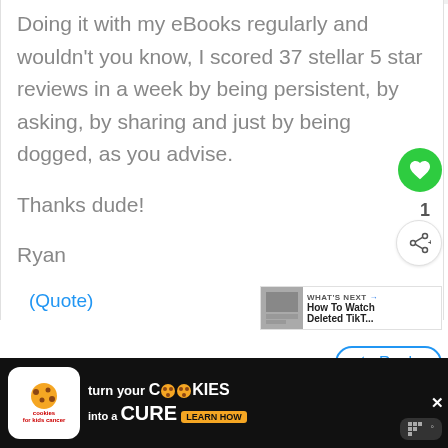Doing it with my eBooks regularly and wouldn't you know, I scored 37 stellar 5 star reviews in a week by being persistent, by asking, by sharing and just by being dogged, as you advise.
Thanks dude!
Ryan
(Quote)
[Figure (screenshot): Green heart/like button with count 1, and a share button]
[Figure (infographic): What's Next panel showing thumbnail and 'How To Watch Deleted TikT...']
[Figure (infographic): Bottom advertisement bar: Cookies for Kids Cancer - turn your COOKIES into a CURE LEARN HOW]